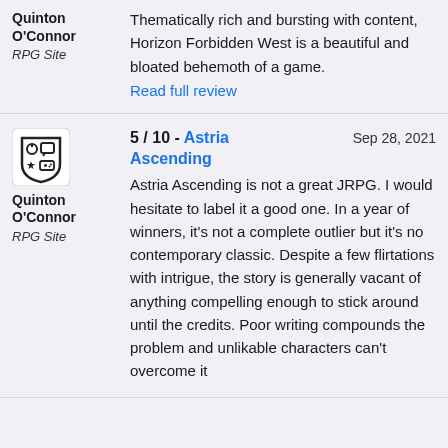Thematically rich and bursting with content, Horizon Forbidden West is a beautiful and bloated behemoth of a game.
Read full review
Quinton O'Connor
RPG Site
5 / 10 - Astria Ascending   Sep 28, 2021
Astria Ascending is not a great JRPG. I would hesitate to label it a good one. In a year of winners, it's not a complete outlier but it's no contemporary classic. Despite a few flirtations with intrigue, the story is generally vacant of anything compelling enough to stick around until the credits. Poor writing compounds the problem and unlikable characters can't overcome it
Quinton O'Connor
RPG Site